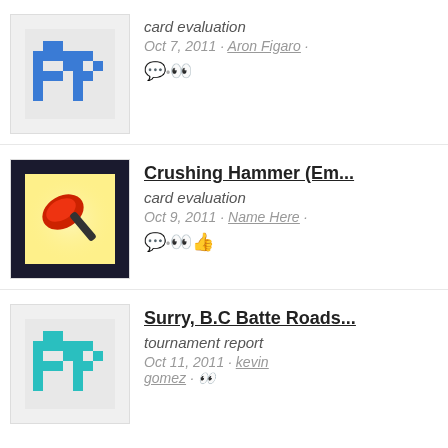card evaluation · Oct 7, 2011 · Aron Figaro
Crushing Hammer (Em... · card evaluation · Oct 9, 2011 · Name Here
Surry, B.C Batte Roads... · tournament report · Oct 11, 2011 · kevin gomez